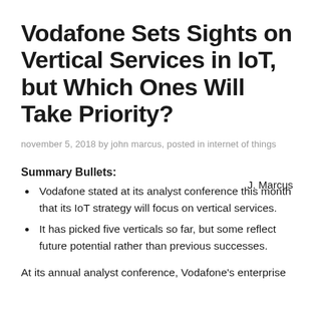Vodafone Sets Sights on Vertical Services in IoT, but Which Ones Will Take Priority?
november 5, 2018 by john marcus, posted in internet of things
Summary Bullets:
J. Marcus
Vodafone stated at its analyst conference this month that its IoT strategy will focus on vertical services.
It has picked five verticals so far, but some reflect future potential rather than previous successes.
At its annual analyst conference, Vodafone's enterprise